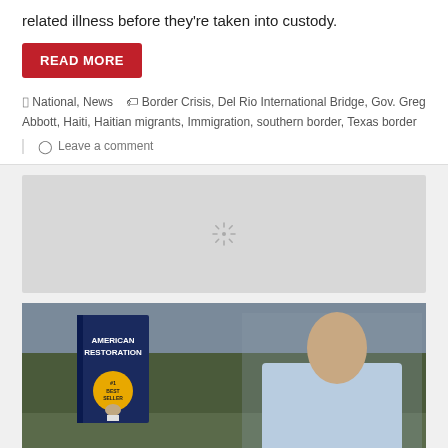related illness before they're taken into custody.
READ MORE
National, News   Border Crisis, Del Rio International Bridge, Gov. Greg Abbott, Haiti, Haitian migrants, Immigration, southern border, Texas border
Leave a comment
[Figure (other): Loading spinner / advertisement placeholder box with a spinning loading icon in the center on a gray background]
[Figure (photo): Promotional image for the book 'American Restoration', showing the book cover with a #1 Best Seller badge, alongside a man in a light blue shirt standing outdoors]